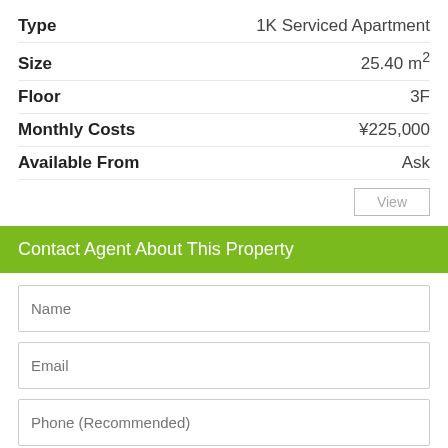| Field | Value |
| --- | --- |
| Type | 1K Serviced Apartment |
| Size | 25.40 m² |
| Floor | 3F |
| Monthly Costs | ¥225,000 |
| Available From | Ask |
Contact Agent About This Property
Name
Email
Phone (Recommended)
Request details about this property and provide some information about yourself. We send your message to the agent directly and they will be in touch with you as soon as possible.